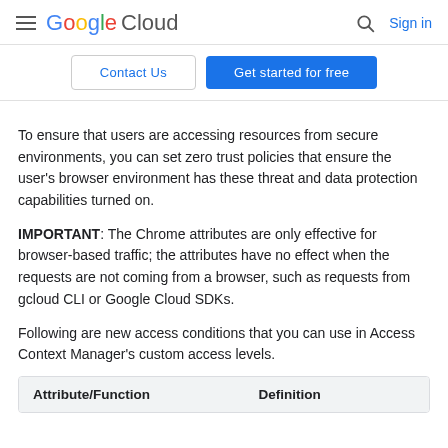Google Cloud — Search | Sign in
Contact Us | Get started for free
To ensure that users are accessing resources from secure environments, you can set zero trust policies that ensure the user's browser environment has these threat and data protection capabilities turned on.
IMPORTANT: The Chrome attributes are only effective for browser-based traffic; the attributes have no effect when the requests are not coming from a browser, such as requests from gcloud CLI or Google Cloud SDKs.
Following are new access conditions that you can use in Access Context Manager's custom access levels.
| Attribute/Function | Definition |
| --- | --- |